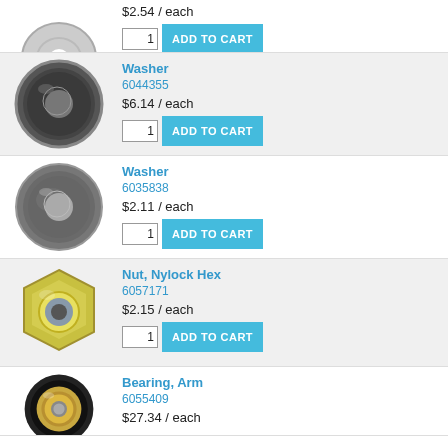[Figure (photo): Partial view of a silver ring washer at top of page]
$2.54 / each
[Figure (other): Quantity input box showing 1 and ADD TO CART button]
[Figure (photo): Large flat washer, zinc plated, dark gray]
Washer
6044355
$6.14 / each
[Figure (other): Quantity input box showing 1 and ADD TO CART button]
[Figure (photo): Large flat washer, steel, medium gray]
Washer
6035838
$2.11 / each
[Figure (other): Quantity input box showing 1 and ADD TO CART button]
[Figure (photo): Nylock hex nut, zinc plated]
Nut, Nylock Hex
6057171
$2.15 / each
[Figure (other): Quantity input box showing 1 and ADD TO CART button]
[Figure (photo): Arm bearing, rubber outer ring with metal inner]
Bearing, Arm
6055409
$27.34 / each